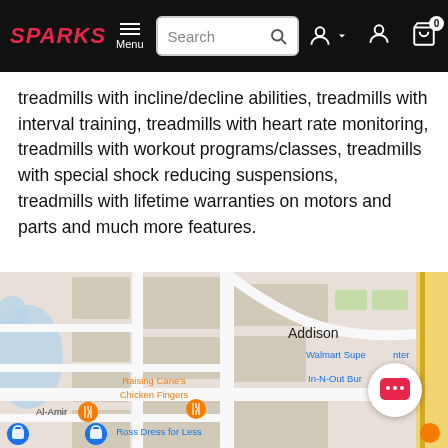SPARKS Menu [Search bar] [User icons] [Cart: 0]
treadmills with incline/decline abilities, treadmills with interval training, treadmills with heart rate monitoring, treadmills with workout programs/classes, treadmills with special shock reducing suspensions, treadmills with lifetime warranties on motors and parts and much more features.
[Figure (map): Google Maps screenshot showing Addison area with landmarks: Walmart Supercenter, In-N-Out Burger, Raising Cane's Chicken Fingers, Al-Amir, Ida Claire, Belt Line Rd, Ross Dress for Less, Sidecar Social. A chat bubble icon overlay is visible in the lower right area of the map.]